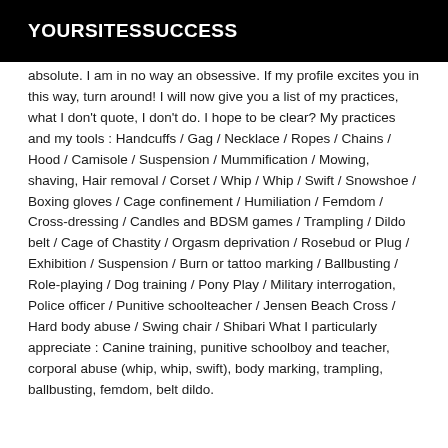YOURSITESSUCCESS
absolute. I am in no way an obsessive. If my profile excites you in this way, turn around! I will now give you a list of my practices, what I don't quote, I don't do. I hope to be clear? My practices and my tools : Handcuffs / Gag / Necklace / Ropes / Chains / Hood / Camisole / Suspension / Mummification / Mowing, shaving, Hair removal / Corset / Whip / Whip / Swift / Snowshoe / Boxing gloves / Cage confinement / Humiliation / Femdom / Cross-dressing / Candles and BDSM games / Trampling / Dildo belt / Cage of Chastity / Orgasm deprivation / Rosebud or Plug / Exhibition / Suspension / Burn or tattoo marking / Ballbusting / Role-playing / Dog training / Pony Play / Military interrogation, Police officer / Punitive schoolteacher / Jensen Beach Cross / Hard body abuse / Swing chair / Shibari What I particularly appreciate : Canine training, punitive schoolboy and teacher, corporal abuse (whip, whip, swift), body marking, trampling, ballbusting, femdom, belt dildo.